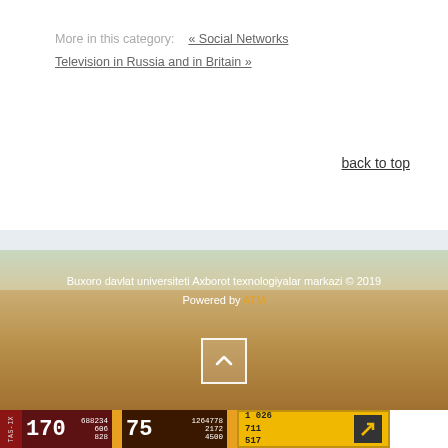More in this category:   « Social Networks
Television in Russia and in Britain »
back to top
Buxoro davlat universiteti Axborot texnologiyalar markazi © 2019
Powered by ATM
[Figure (other): Scroll-to-top button icon (white square with upward arrow)]
[Figure (infographic): Website statistics bar showing TAS-IX rankings: 170 (688234/606/828), 75 (1264778/2172/4500), 1026/711/517 with arrow icon, IKS 810]